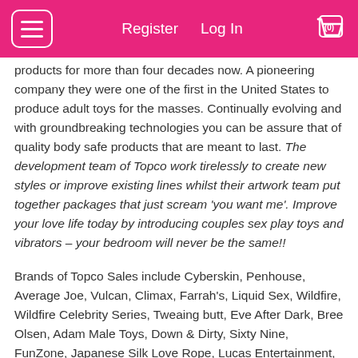Register  Log In  (0)
products for more than four decades now. A pioneering company they were one of the first in the United States to produce adult toys for the masses. Continually evolving and with groundbreaking technologies you can be assure that of quality body safe products that are meant to last. The development team of Topco work tirelessly to create new styles or improve existing lines whilst their artwork team put together packages that just scream 'you want me'. Improve your love life today by introducing couples sex play toys and vibrators – your bedroom will never be the same!!
Brands of Topco Sales include Cyberskin, Penhouse, Average Joe, Vulcan, Climax, Farrah's, Liquid Sex, Wildfire, Wildfire Celebrity Series, Tweaing butt, Eve After Dark, Bree Olsen, Adam Male Toys, Down & Dirty, Sixty Nine, FunZone, Japanese Silk Love Rope, Lucas Entertainment, Lure, My First, TLC, Hot Stuff, Sex Please!, Sex Tarts, Bottoms Up and Ultra Zone.